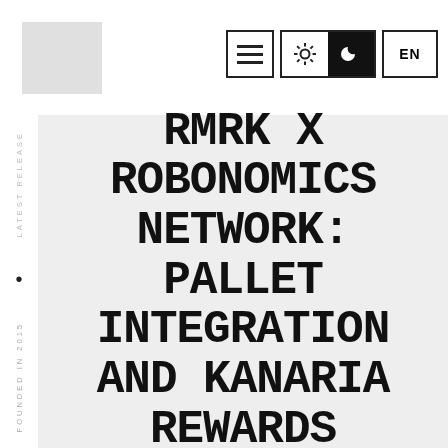[Figure (logo): Logo placeholder, light gray rectangle]
[Figure (screenshot): Navigation bar with hamburger menu icon, light/dark mode toggle (sun and moon icons), and EN language selector]
LATEST RELEASE
•
FOUNDED IN 2015
RMRK X ROBONOMICS NETWORK: PALLET INTEGRATION AND KANARIA REWARDS